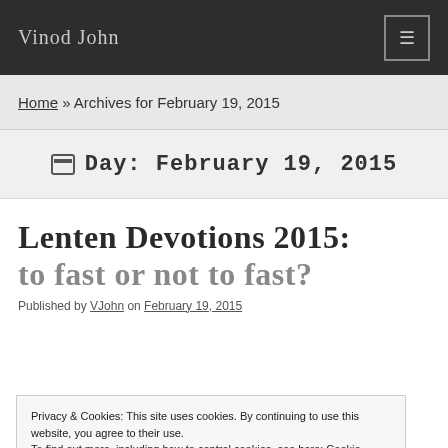Vinod John
Home » Archives for February 19, 2015
Day: February 19, 2015
Lenten Devotions 2015: to fast or not to fast?
Published by VJohn on February 19, 2015
Privacy & Cookies: This site uses cookies. By continuing to use this website, you agree to their use.
To find out more, including how to control cookies, see here: Cookie Policy
Close and accept